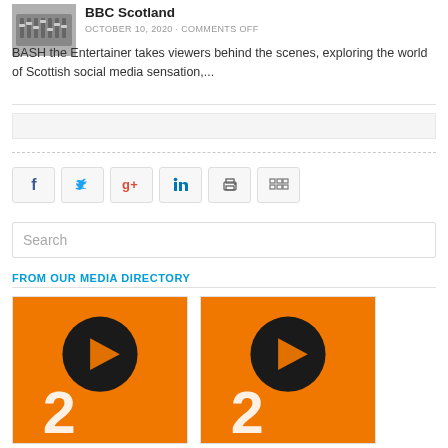[Figure (photo): Thumbnail image of mixing board / audio console]
BBC Scotland
OCTOBER 10, 2020 · COMMENTS OFF
BASH the Entertainer takes viewers behind the scenes, exploring the world of Scottish social media sensation,...
[Figure (other): Empty gray rectangular box]
[Figure (other): Social share buttons: Facebook, Twitter, Google+, LinkedIn, Print, Embed]
[Figure (other): Search input box with placeholder text 'Search']
FROM OUR MEDIA DIRECTORY
[Figure (logo): Media directory card 1 — orange background with dark circle play icon and stylized number]
[Figure (logo): Media directory card 2 — orange background with dark circle play icon and stylized number]